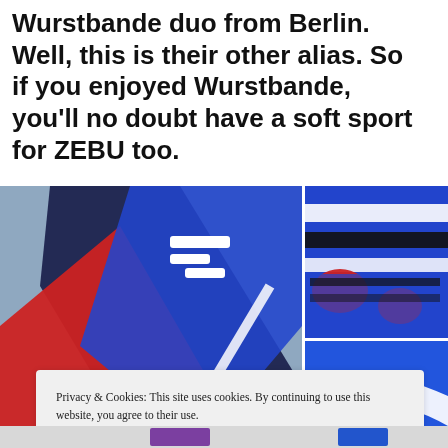Wurstbande duo from Berlin. Well, this is their other alias. So if you enjoyed Wurstbande, you'll no doubt have a soft sport for ZEBU too.
[Figure (photo): Collage of three photos showing colorful knitted scarves or fabric with bold red, blue, black and white graphic patterns. Left large image shows folded scarf from above; top right and bottom right show close-up textile detail.]
Privacy & Cookies: This site uses cookies. By continuing to use this website, you agree to their use.
To find out more, including how to control cookies, see here:
Cookie Policy
Close and accept